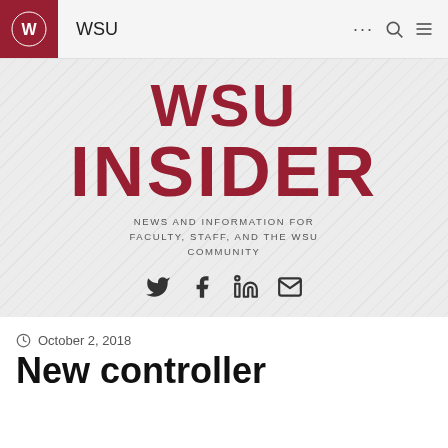WSU
[Figure (logo): WSU Insider banner with diagonal stripe background, large crimson text reading WSU INSIDER, subtitle NEWS AND INFORMATION FOR FACULTY, STAFF, AND THE WSU COMMUNITY, and social media icons (Twitter, Facebook, LinkedIn, Email)]
October 2, 2018
New controller